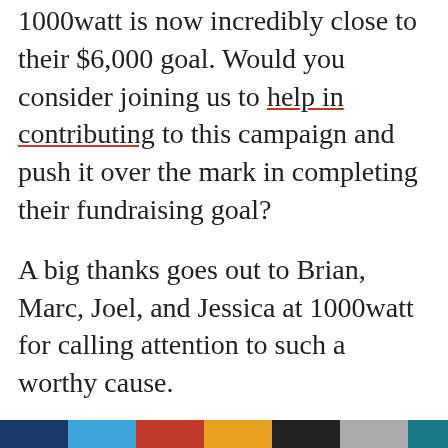1000watt is now incredibly close to their $6,000 goal. Would you consider joining us to help in contributing to this campaign and push it over the mark in completing their fundraising goal?
A big thanks goes out to Brian, Marc, Joel, and Jessica at 1000watt for calling attention to such a worthy cause.
Have a very merry holiday and we'll see you all in 2017!
[Figure (other): Colored footer bar with segments: dark blue, light blue, red/orange, dark gray/black, light gray, teal/blue]